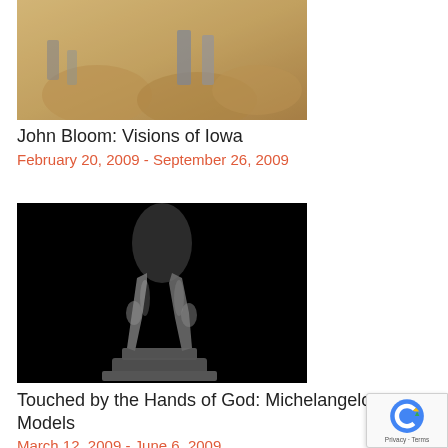[Figure (photo): Painting showing figures in a warm-toned scene, partial crop at top of page — John Bloom artwork depicting Iowa scenes]
John Bloom: Visions of Iowa
February 20, 2009 - September 26, 2009
[Figure (photo): Black and white photograph of a bronze sculpture showing the lower body and legs of a figure standing on a pedestal — Michelangelo's Models exhibition]
Touched by the Hands of God: Michelangelo's Models
March 12, 2009 - June 6, 2009